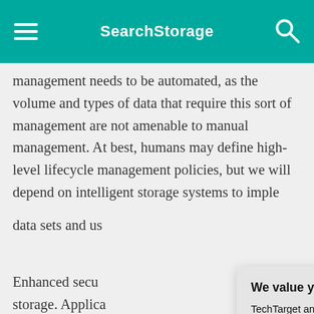SearchStorage
management needs to be automated, as the volume and types of data that require this sort of management are not amenable to manual management. At best, humans may define high-level lifecycle management policies, but we will depend on intelligent storage systems to implement these policies across specific data sets and us
Enhanced secu storage. Applica predictable patte commonly monit operations can i are not uncomm intelligent stora indicative of a p threat to operati
We value your privacy. TechTarget and its partners employ cookies to improve your experience on our site, to analyze traffic and performance, and to serve personalized content and advertising that are relevant to your professional interests. You can manage your settings at any time. Please view our Privacy Policy for more information